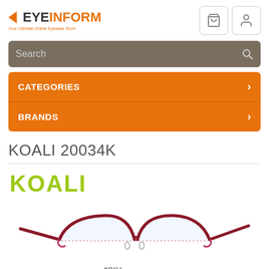[Figure (logo): EyeInform logo with orange triangle and text 'EYEINFORM Your Ultimate Online Eyewear Store']
[Figure (screenshot): Search bar with dark taupe background and search icon]
CATEGORIES
BRANDS
KOALI 20034K
[Figure (logo): KOALI brand logo in lime/yellow-green color]
[Figure (photo): KOALI 20034K eyeglasses frame in dark red/burgundy semi-rimless style]